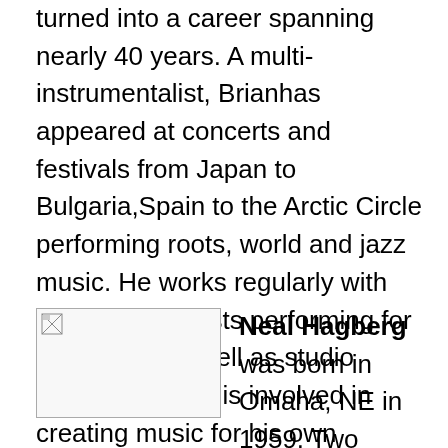turned into a career spanning nearly 40 years. A multi-instrumentalist, Brianhas appeared at concerts and festivals from Japan to Bulgaria,Spain to the Arctic Circle performing roots, world and jazz music. He works regularly with many other artists performing for live shows as well as studio recordings, and is involved in creating music for his own performance, film, and animation projects.
[Figure (photo): Broken image placeholder thumbnail]
Neal Hagberg was born in Omaha, NE in 1959. Two weeks later his family moved to Montevideo, MN, where he grow up in small town prairie